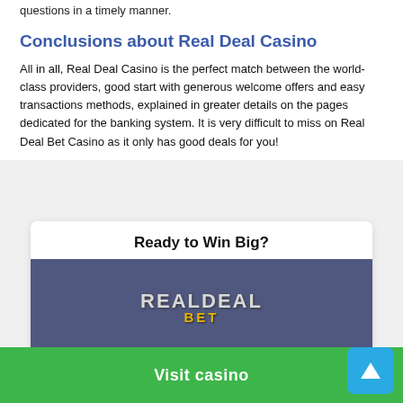questions in a timely manner.
Conclusions about Real Deal Casino
All in all, Real Deal Casino is the perfect match between the world-class providers, good start with generous welcome offers and easy transactions methods, explained in greater details on the pages dedicated for the banking system. It is very difficult to miss on Real Deal Bet Casino as it only has good deals for you!
[Figure (infographic): Card with heading 'Ready to Win Big?', Real Deal Bet casino logo on dark blue/slate background, yellow bar, and green 'Visit casino' button at bottom.]